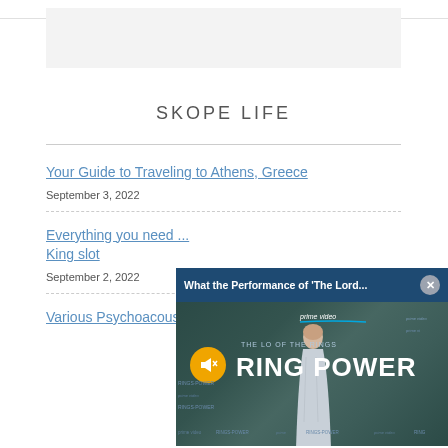[Figure (other): Gray placeholder box at top of page]
SKOPE LIFE
Your Guide to Traveling to Athens, Greece
September 3, 2022
Everything you need ... King slot
September 2, 2022
Various Psychoacous...
[Figure (screenshot): Floating video overlay showing Prime Video 'The Lord of the Rings: Rings of Power' with title bar 'What the Performance of The Lord...' and a close X button, mute button visible, person in silver dress at event backdrop]